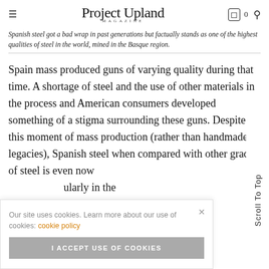Project Upland MAGAZINE
Spanish steel got a bad wrap in past generations but factually stands as one of the highest qualities of steel in the world, mined in the Basque region.
Spain mass produced guns of varying quality during that time. A shortage of steel and the use of other materials in the process and American consumers developed something of a stigma surrounding these guns. Despite this moment of mass production (rather than handmade legacies), Spanish steel when compared with other grades of steel is even now considered one of the best in the world, particularly in the
Our site uses cookies. Learn more about our use of cookies: cookie policy
I ACCEPT USE OF COOKIES
Scroll To Top